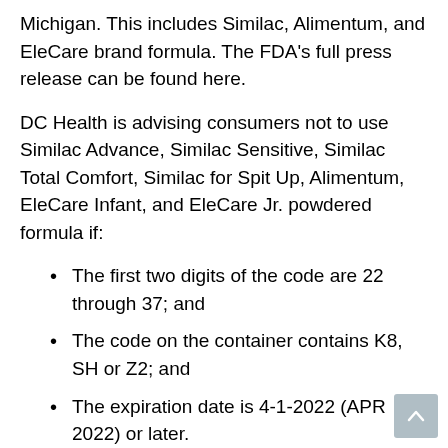Michigan. This includes Similac, Alimentum, and EleCare brand formula. The FDA's full press release can be found here.
DC Health is advising consumers not to use Similac Advance, Similac Sensitive, Similac Total Comfort, Similac for Spit Up, Alimentum, EleCare Infant, and EleCare Jr. powdered formula if:
The first two digits of the code are 22 through 37; and
The code on the container contains K8, SH or Z2; and
The expiration date is 4-1-2022 (APR 2022) or later.
The code is printed on the product packaging